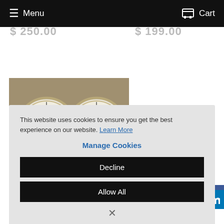Menu   Cart
$ 250.00   $ 199.00
[Figure (photo): Two circular pressure gauges with white faces and brass/chrome bezels, showing needle indicators]
This website uses cookies to ensure you get the best experience on our website. Learn More
Manage Cookies
Decline
Allow All
×
CGA677
$ 199.00
$ 250.00